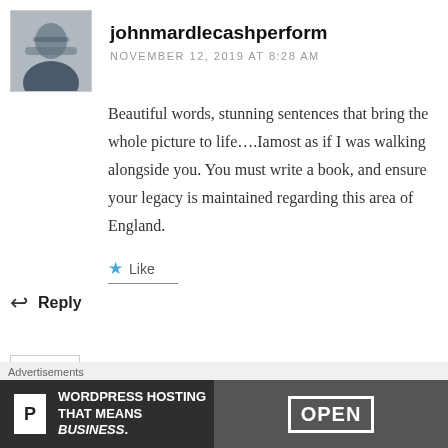[Figure (photo): Profile photo of a man in a suit with glasses]
johnmardlecashperform
NOVEMBER 12, 2019 AT 8:28 AM
Beautiful words, stunning sentences that bring the whole picture to life….Iamost as if I was walking alongside you. You must write a book, and ensure your legacy is maintained regarding this area of England.
Like
Reply
[Figure (illustration): Default avatar icon with X pattern]
Sophie May Lewis
Advertisements
[Figure (screenshot): WordPress Hosting That Means BUSINESS advertisement banner with OPEN sign photo]